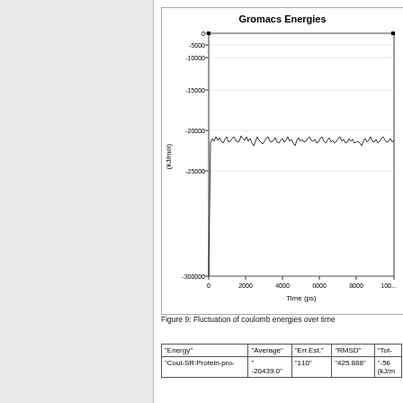[Figure (continuous-plot): Line chart showing fluctuation of coulomb energies over time. Y-axis ranges from -300000 to 0 kJ/mol. X-axis ranges from 0 to ~10000 ps. The signal fluctuates around -20000 kJ/mol.]
Figure 9: Fluctuation of coulomb energies over time
| "Energy" | "Average" | "Err.Est." | "RMSD" | "Tot- |
| --- | --- | --- | --- | --- |
| "Coul-SR:Protein-pro- | " | "110" | "425.888" | "-56... (kJ/m |